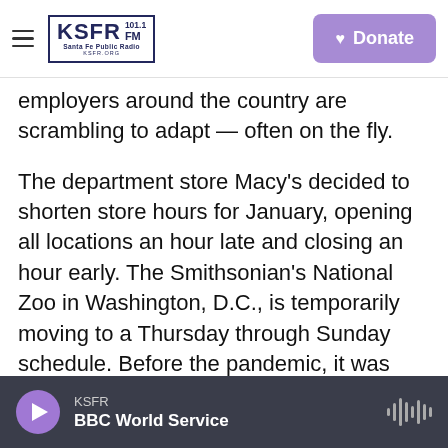KSFR 101.1 FM Santa Fe Public Radio — Donate
employers around the country are scrambling to adapt — often on the fly.
The department store Macy's decided to shorten store hours for January, opening all locations an hour late and closing an hour early. The Smithsonian's National Zoo in Washington, D.C., is temporarily moving to a Thursday through Sunday schedule. Before the pandemic, it was open every day except Christmas. Advocate Aurora Health of Wisconsin has temporarily closed three urgent care centers and moved staff to busier locations.
Your broccoli might not be as clean as
KSFR — BBC World Service